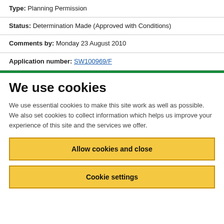Type: Planning Permission
Status: Determination Made (Approved with Conditions)
Comments by: Monday 23 August 2010
Application number: SW100969/F
We use cookies
We use essential cookies to make this site work as well as possible. We also set cookies to collect information which helps us improve your experience of this site and the services we offer.
Allow cookies and close
Cookie settings